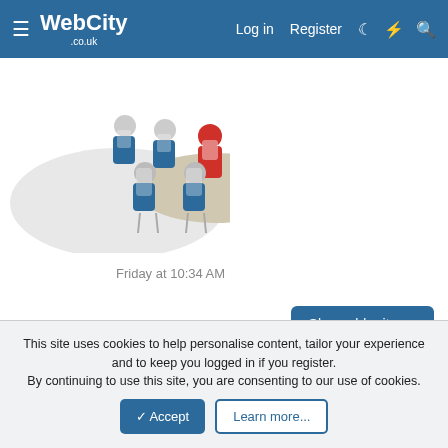WebCity .co.uk  Log in  Register
[Figure (illustration): Illustration of people in blue shirts seated around a meeting table, viewed from above/behind, with one person in red at the head of the table]
Friday at 10:34 AM
Show older items
✏ Original Style
Contact us  About us  Terms and rules  Privacy policy  Help
Community platform by XenForo® © 2010-2022 XenForo Ltd.
Copyright © 2022, WebCity UK. All rights reserved. Use of this site is subject to our Terms and Rules.
This site uses cookies to help personalise content, tailor your experience and to keep you logged in if you register.
By continuing to use this site, you are consenting to our use of cookies.
✓ Accept  Learn more...